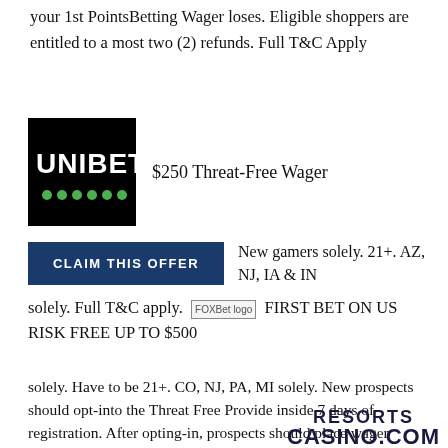your 1st PointsBetting Wager loses. Eligible shoppers are entitled to a most two (2) refunds. Full T&C Apply
[Figure (logo): Unibet logo — black background with white bold text UNIBET and green dots below]
$250 Threat-Free Wager
CLAIM THIS OFFER
New gamers solely. 21+. AZ, NJ, IA & IN solely. Full T&C apply.
FIRST BET ON US RISK FREE UP TO $500
CLAIM THIS OFFER
New prospects solely. Have to be 21+. CO, NJ, PA, MI solely. New prospects should opt-into the Threat Free Provide inside 7 days of registration. After opting-in, prospects should place wager
inside 7 days to qualify. Full T&C apply.
[Figure (logo): Resorts Casino.com logo with Casino | Sportsbook banner in blue]
Get